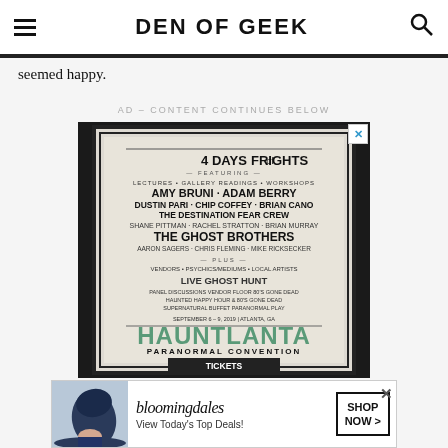DEN OF GEEK
seemed happy.
AD – CONTENT CONTINUES BELOW
[Figure (photo): Advertisement for Hauntlanta Paranormal Convention featuring '4 Days of Frights' poster with performer names including Amy Bruni, Adam Berry, Dustin Pari, Chip Coffey, Brian Cano, The Destination Fear Crew, Shane Pittman, Rachel Stratton, Brian Murray, The Ghost Brothers, Aaron Sagers, Chris Fleming, Mike Ricksecker and 'Tickets On Sale Now' text, displayed in a dark frame. Below it a Bloomingdale's banner ad reading 'View Today's Top Deals! SHOP NOW >']